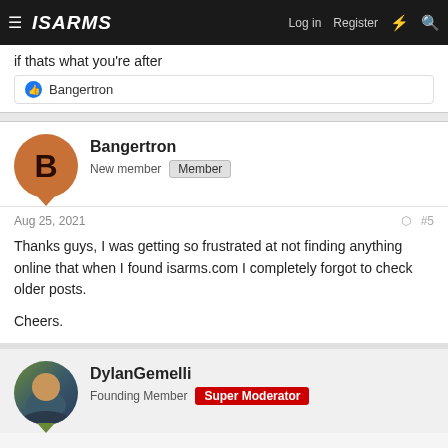ISARMS - Log in  Register
if thats what you're after
Bangertron
Bangertron
New member  Member
Aug 25, 2021  #5
Thanks guys, I was getting so frustrated at not finding anything online that when I found isarms.com I completely forgot to check older posts.

Cheers.
DylanGemelli
Founding Member  Super Moderator